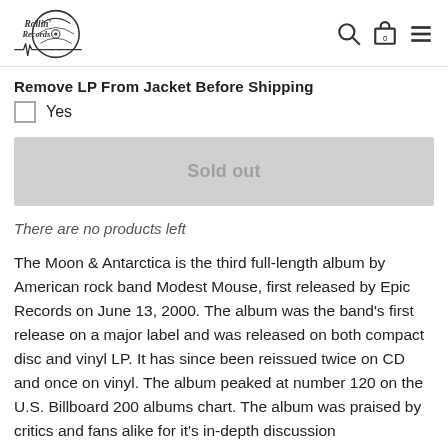Rollin Records [logo with search, cart (0), and menu icons]
Remove LP From Jacket Before Shipping
Yes [checkbox]
Sold out
There are no products left
The Moon & Antarctica is the third full-length album by American rock band Modest Mouse, first released by Epic Records on June 13, 2000. The album was the band's first release on a major label and was released on both compact disc and vinyl LP. It has since been reissued twice on CD and once on vinyl. The album peaked at number 120 on the U.S. Billboard 200 albums chart. The album was praised by critics and fans alike for it's in-depth discussion